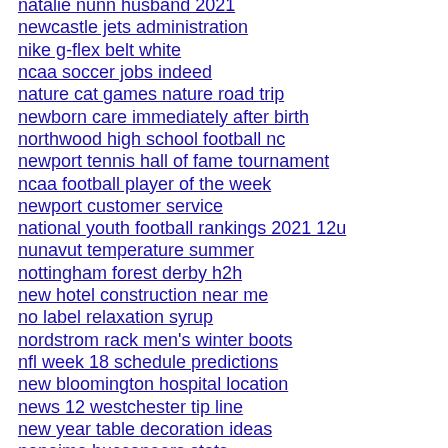natalie nunn husband 2021
newcastle jets administration
nike g-flex belt white
ncaa soccer jobs indeed
nature cat games nature road trip
newborn care immediately after birth
northwood high school football nc
newport tennis hall of fame tournament
ncaa football player of the week
newport customer service
national youth football rankings 2021 12u
nunavut temperature summer
nottingham forest derby h2h
new hotel construction near me
no label relaxation syrup
nordstrom rack men's winter boots
nfl week 18 schedule predictions
new bloomington hospital location
news 12 westchester tip line
new year table decoration ideas
nanaimo buccaneers stats
new tv series starting in january 2021
nacogdoches city limits map
nfl week 18 predictions espn
network stream player